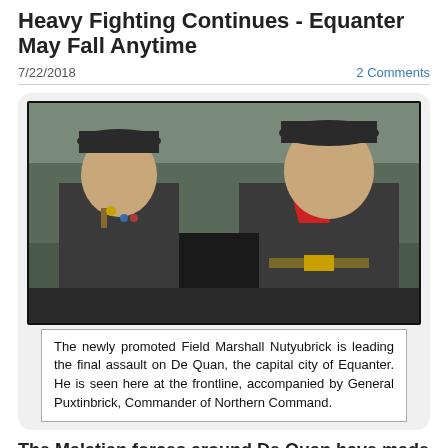Heavy Fighting Continues - Equanter May Fall Anytime
7/22/2018
2 Comments
[Figure (photo): Two LEGO military officer figurines in grey uniforms with caps standing at the frontline, outdoor background with trees/rocks.]
The newly promoted Field Marshall Nutyubrick is leading the final assault on De Quan, the capital city of Equanter. He is seen here at the frontline, accompanied by General Puxtinbrick, Commander of Northern Command.
The Malatian forces around De Quan have made final